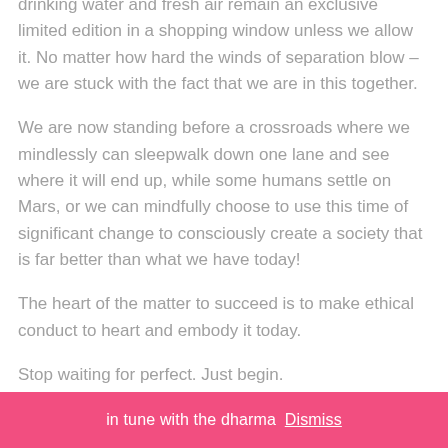drinking water and fresh air remain an exclusive limited edition in a shopping window unless we allow it. No matter how hard the winds of separation blow – we are stuck with the fact that we are in this together.
We are now standing before a crossroads where we mindlessly can sleepwalk down one lane and see where it will end up, while some humans settle on Mars, or we can mindfully choose to use this time of significant change to consciously create a society that is far better than what we have today!
The heart of the matter to succeed is to make ethical conduct to heart and embody it today.
Stop waiting for perfect. Just begin.
in tune with the dharma Dismiss